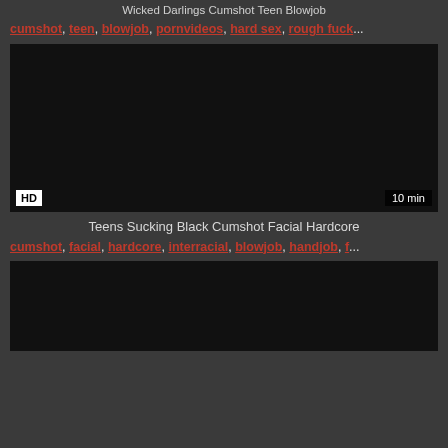Wicked Darlings Cumshot Teen Blowjob
cumshot, teen, blowjob, pornvideos, hard sex, rough fuck...
[Figure (screenshot): Dark video thumbnail with HD badge bottom-left and 10 min badge bottom-right]
Teens Sucking Black Cumshot Facial Hardcore
cumshot, facial, hardcore, interracial, blowjob, handjob, f...
[Figure (screenshot): Dark video thumbnail, partially visible]